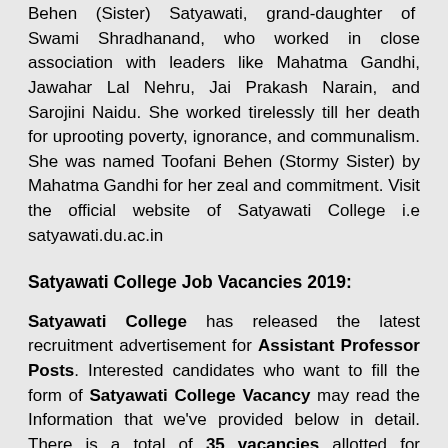Behen (Sister) Satyawati, grand-daughter of Swami Shradhanand, who worked in close association with leaders like Mahatma Gandhi, Jawahar Lal Nehru, Jai Prakash Narain, and Sarojini Naidu. She worked tirelessly till her death for uprooting poverty, ignorance, and communalism. She was named Toofani Behen (Stormy Sister) by Mahatma Gandhi for her zeal and commitment. Visit the official website of Satyawati College i.e satyawati.du.ac.in
Satyawati College Job Vacancies 2019:
Satyawati College has released the latest recruitment advertisement for Assistant Professor Posts. Interested candidates who want to fill the form of Satyawati College Vacancy may read the Information that we've provided below in detail. There is a total of 35 vacancies allotted for Satyawati College Notification 2019. All the candidates who've completed their 12th, Masters,